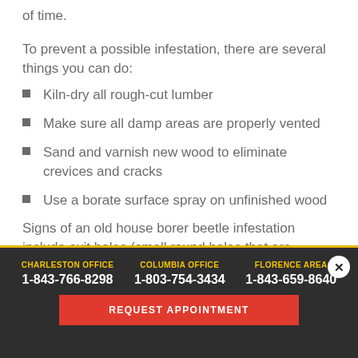of time.
To prevent a possible infestation, there are several things you can do:
Kiln-dry all rough-cut lumber
Make sure all damp areas are properly vented
Sand and varnish new wood to eliminate crevices and cracks
Use a borate surface spray on unfinished wood
Signs of an old house borer beetle infestation include exit holes (small round holes that are unnatural in healthy
CHARLESTON OFFICE 1-843-766-8298 | COLUMBIA OFFICE 1-803-754-3434 | FLORENCE AREA 1-843-659-8640 | REQUEST APPOINTMENT